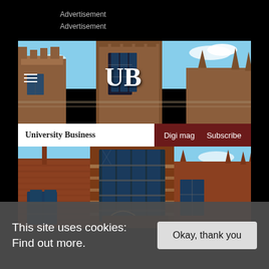Advertisement
Advertisement
[Figure (screenshot): University Business website header with UB logo over a Gothic university building photo, with navigation bar showing 'University Business', 'Digi mag', and 'Subscribe']
This site uses cookies: Find out more.
Okay, thank you